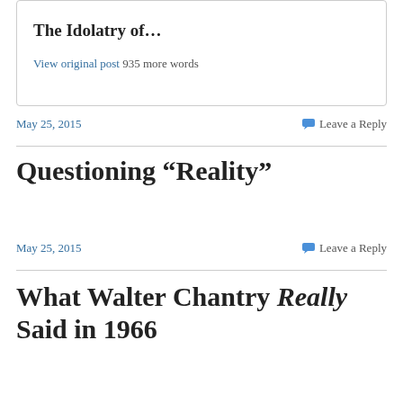The Idolatry of…
View original post 935 more words
May 25, 2015        Leave a Reply
Questioning “Reality”
May 25, 2015        Leave a Reply
What Walter Chantry Really Said in 1966